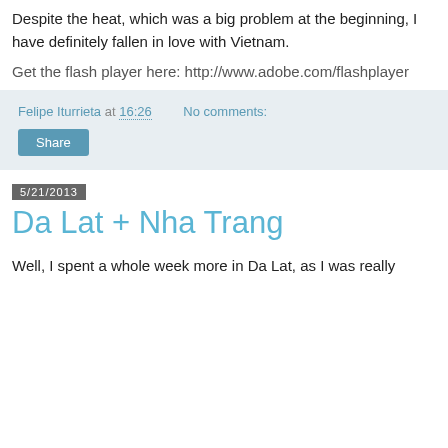Despite the heat, which was a big problem at the beginning, I have definitely fallen in love with Vietnam.
Get the flash player here: http://www.adobe.com/flashplayer
Felipe Iturrieta at 16:26    No comments:
Share
5/21/2013
Da Lat + Nha Trang
Well, I spent a whole week more in Da Lat, as I was really